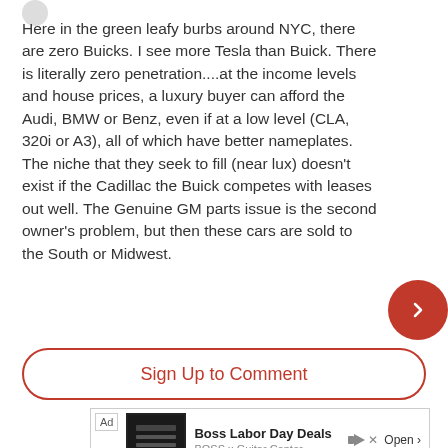Here in the green leafy burbs around NYC, there are zero Buicks. I see more Tesla than Buick. There is literally zero penetration....at the income levels and house prices, a luxury buyer can afford the Audi, BMW or Benz, even if at a low level (CLA, 320i or A3), all of which have better nameplates. The niche that they seek to fill (near lux) doesn't exist if the Cadillac the Buick competes with leases out well. The Genuine GM parts issue is the second owner's problem, but then these cars are sold to the South or Midwest.
Sign Up to Comment
[Figure (other): Advertisement for Boss Labor Day Deals - BOSS x Guitar Center with Open button]